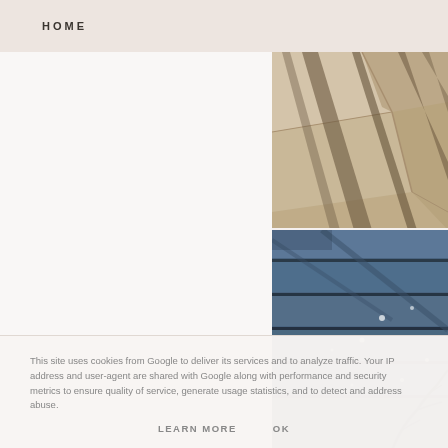HOME
[Figure (photo): Aerial view of pavement/concrete surface with long diagonal shadows cast by poles or people, warm sandy tones]
[Figure (photo): Close-up of horizontal blue/navy wooden planks or boards with weathering and small white specks; tree branches visible at bottom right]
This site uses cookies from Google to deliver its services and to analyze traffic. Your IP address and user-agent are shared with Google along with performance and security metrics to ensure quality of service, generate usage statistics, and to detect and address abuse.
LEARN MORE    OK